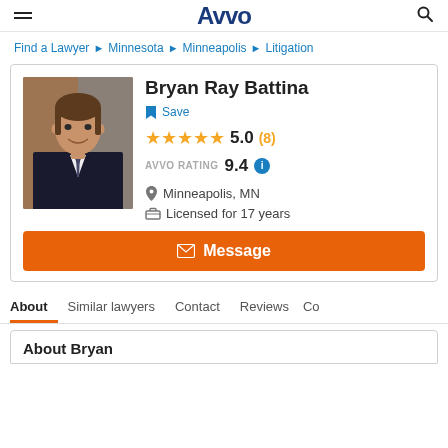AVVO
Find a Lawyer > Minnesota > Minneapolis > Litigation
[Figure (photo): Professional headshot of Bryan Ray Battina, a man in a dark suit and tie, smiling, against a warm-toned background]
Bryan Ray Battina
Save
5.0 (8)
AVVO RATING 9.4
Minneapolis, MN
Licensed for 17 years
Message
About  Similar lawyers  Contact  Reviews  Co